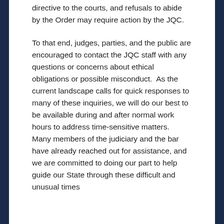directive to the courts, and refusals to abide by the Order may require action by the JQC.
To that end, judges, parties, and the public are encouraged to contact the JQC staff with any questions or concerns about ethical obligations or possible misconduct.  As the current landscape calls for quick responses to many of these inquiries, we will do our best to be available during and after normal work hours to address time-sensitive matters.  Many members of the judiciary and the bar have already reached out for assistance, and we are committed to doing our part to help guide our State through these difficult and unusual times